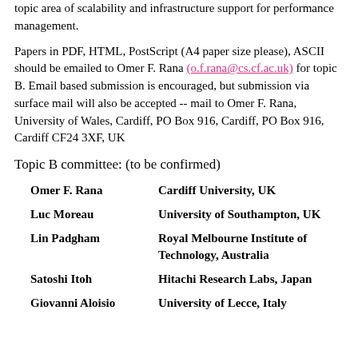topic area of scalability and infrastructure support for performance management.
Papers in PDF, HTML, PostScript (A4 paper size please), ASCII should be emailed to Omer F. Rana (o.f.rana@cs.cf.ac.uk) for topic B. Email based submission is encouraged, but submission via surface mail will also be accepted -- mail to Omer F. Rana, University of Wales, Cardiff, PO Box 916, Cardiff, PO Box 916, Cardiff CF24 3XF, UK
Topic B committee: (to be confirmed)
Omer F. Rana   Cardiff University, UK
Luc Moreau   University of Southampton, UK
Lin Padgham   Royal Melbourne Institute of Technology, Australia
Satoshi Itoh   Hitachi Research Labs, Japan
Giovanni Aloisio   University of Lecce, Italy